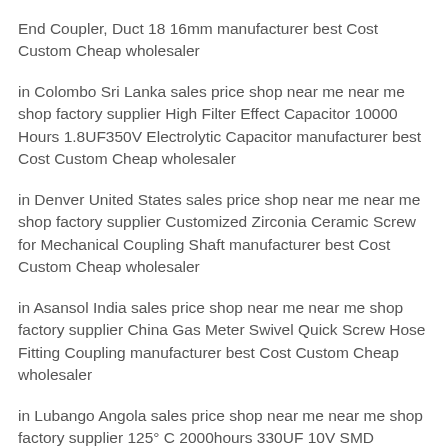End Coupler, Duct 18 16mm manufacturer best Cost Custom Cheap wholesaler
in Colombo Sri Lanka sales price shop near me near me shop factory supplier High Filter Effect Capacitor 10000 Hours 1.8UF350V Electrolytic Capacitor manufacturer best Cost Custom Cheap wholesaler
in Denver United States sales price shop near me near me shop factory supplier Customized Zirconia Ceramic Screw for Mechanical Coupling Shaft manufacturer best Cost Custom Cheap wholesaler
in Asansol India sales price shop near me near me shop factory supplier China Gas Meter Swivel Quick Screw Hose Fitting Coupling manufacturer best Cost Custom Cheap wholesaler
in Lubango Angola sales price shop near me near me shop factory supplier 125° C 2000hours 330UF 10V SMD Aluminum Electrolytic Capacitor manufacturer best Cost Custom Cheap wholesaler